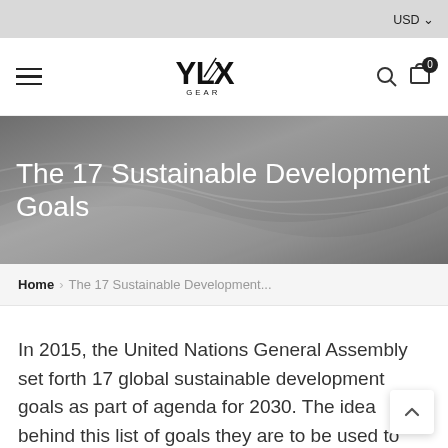USD
[Figure (logo): YLX Gear logo with stylized YLX text and scissors graphic, with GEAR written below]
The 17 Sustainable Development Goals
Home › The 17 Sustainable Development...
In 2015, the United Nations General Assembly set forth 17 global sustainable development goals as part of agenda for 2030. The idea behind this list of goals they are to be used to track global progress towards a